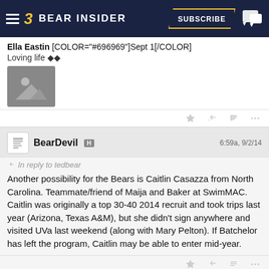Bear Insider — Subscribe
Ella Eastin [COLOR="#696969"]Sept 1[/COLOR]
Loving life 🌅🌅
[Figure (photo): Image placeholder (landscape/mountain icon)]
BearDevil H — 6:59a, 9/2/14
In reply to tedbear

Another possibility for the Bears is Caitlin Casazza from North Carolina. Teammate/friend of Maija and Baker at SwimMAC. Caitlin was originally a top 30-40 2014 recruit and took trips last year (Arizona, Texas A&M), but she didn't sign anywhere and visited UVa last weekend (along with Mary Pelton). If Batchelor has left the program, Caitlin may be able to enter mid-year.
OBear073akaSMFan L P — 8:38a, 9/2/14
In reply to BearDevil

BearDevil;842351145 said: